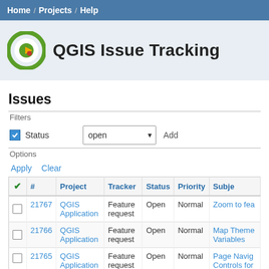Home / Projects / Help
QGIS Issue Tracking
Issues
Filters
Status   open   Add
Options
Apply   Clear
| ✔ | # | Project | Tracker | Status | Priority | Subject |
| --- | --- | --- | --- | --- | --- | --- |
|  | 21767 | QGIS Application | Feature request | Open | Normal | Zoom to fea... |
|  | 21766 | QGIS Application | Feature request | Open | Normal | Map Theme... Variables |
|  | 21765 | QGIS Application | Feature request | Open | Normal | Page Navig... Controls for Composer/... UI |
|  | 21764 | QGIS Application | Feature request | Open | Normal | New Page T... variable |
|  | 21763 | QGIS Application | Feature request | Open | Normal | New Metad... |